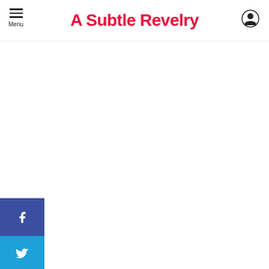A Subtle Revelry
[Figure (other): Social sharing sidebar with Facebook, Twitter, and Pinterest buttons]
e each letter in the center of your paper and cut out the inside of the letter – careful, this opposite cutting will make your brain short circuit for a second. Hang the paper on thin string or fishing wire and tape onto the wall of your choice.